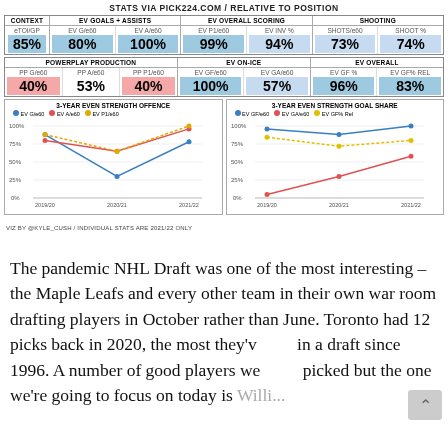STATS VIA PICK224.COM / RELATIVE TO POSITION
| CONTEXT | EV GOALS + ASSISTS |  | EV OVERALL SCORING |  | SHOOTING |  |
| --- | --- | --- | --- | --- | --- | --- |
| eTOI/GP | EV G/e60 | EV A/e60 | EV P1/e60 | EV INV % | SHOTS/e60 | SHOOT % |
| 85% | 80% | 100% | 99% | 94% | 73% | 74% |
| POWERPLAY PRODUCTION |  |  | EV ON-ICE |  | EV OVERALL |  |
| --- | --- | --- | --- | --- | --- | --- |
| PP G/e60 | PP A/e60 | PP P1/e60 | EV GF/e60 | EV GA/e60 | EV GF % | EV GF% REL |
| 40% | 53% | 40% | 100% | 57% | 96% | 83% |
[Figure (line-chart): 3-YEAR EVEN STRENGTH OFFENCE]
[Figure (line-chart): 3-YEAR EVEN STRENGTH GOAL SHARE]
VIZ BY @KYLE_CUSH / INDIVIDUAL STATS ARE 2021/22 ONLY
The pandemic NHL Draft was one of the most interesting – the Maple Leafs and every other team in their own war room drafting players in October rather than June. Toronto had 12 picks back in 2020, the most they've had in a draft since 1996. A number of good players were picked but the one we're going to focus on today is William Willi...